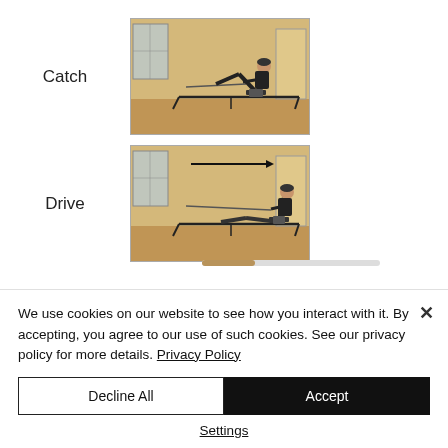[Figure (photo): Person in the 'Catch' position on a rowing machine (indoor rower), viewed from the side in a room with wooden floors and beige walls.]
Catch
[Figure (photo): Person in the 'Drive' position on a rowing machine, with a horizontal arrow indicating direction of motion, viewed from the side.]
Drive
We use cookies on our website to see how you interact with it. By accepting, you agree to our use of such cookies. See our privacy policy for more details. Privacy Policy
Decline All
Accept
Settings